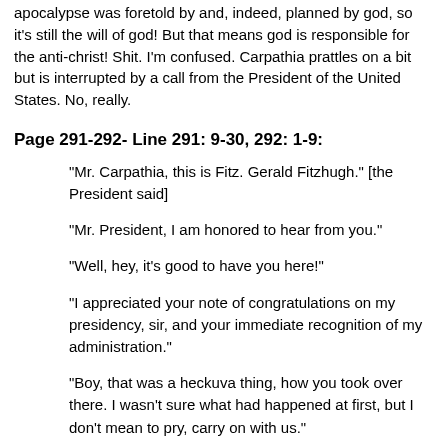apocalypse was foretold by and, indeed, planned by god, so it's still the will of god! But that means god is responsible for the anti-christ! Shit. I'm confused. Carpathia prattles on a bit but is interrupted by a call from the President of the United States. No, really.
Page 291-292- Line 291: 9-30, 292: 1-9:
"Mr. Carpathia, this is Fitz. Gerald Fitzhugh." [the President said]
"Mr. President, I am honored to hear from you."
"Well, hey, it's good to have you here!"
"I appreciated your note of congratulations on my presidency, sir, and your immediate recognition of my administration."
"Boy, that was a heckuva thing, how you took over there. I wasn't sure what had happened at first, but I don't mean to pry, carry on with us."